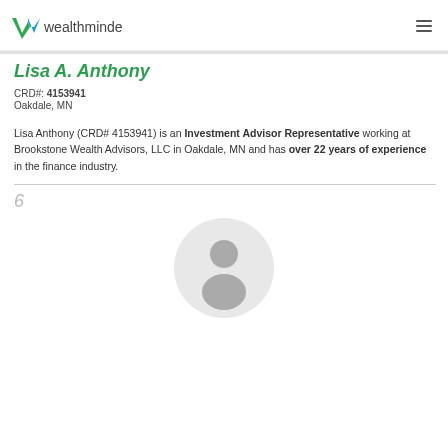wealthminder
Lisa A. Anthony
CRD#: 4153941
Oakdale, MN
Lisa Anthony (CRD# 4153941) is an Investment Advisor Representative working at Brookstone Wealth Advisors, LLC in Oakdale, MN and has over 22 years of experience in the finance industry.
6
[Figure (illustration): Circular placeholder profile photo with silhouette of a person on a light gray background]